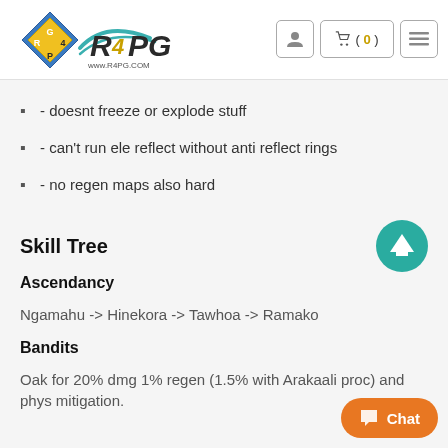R4PG www.r4pg.com
- doesnt freeze or explode stuff
- can't run ele reflect without anti reflect rings
- no regen maps also hard
Skill Tree
Ascendancy
Ngamahu  ->  Hinekora  ->  Tawhoa  ->  Ramako
Bandits
Oak for 20% dmg 1% regen (1.5% with Arakaali proc) and phys mitigation.